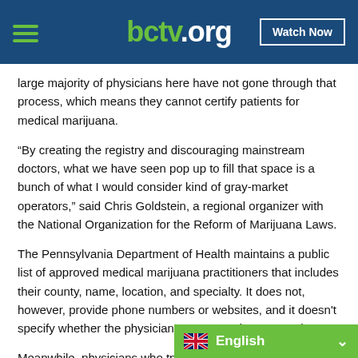bctv.org — Watch Now
large majority of physicians here have not gone through that process, which means they cannot certify patients for medical marijuana.
“By creating the registry and discouraging mainstream doctors, what we have seen pop up to fill that space is a bunch of what I would consider kind of gray-market operators,” said Chris Goldstein, a regional organizer with the National Organization for the Reform of Marijuana Laws.
The Pennsylvania Department of Health maintains a public list of approved medical marijuana practitioners that includes their county, name, location, and specialty. It does not, however, provide phone numbers or websites, and it doesn’t specify whether the physicians are accepting new patients.
Meanwhile, physicians who try to m… patients to find can run into trouble.